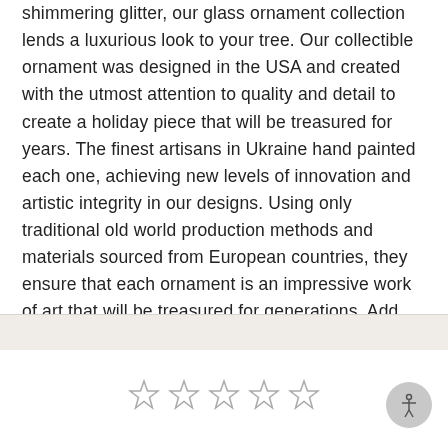shimmering glitter, our glass ornament collection lends a luxurious look to your tree. Our collectible ornament was designed in the USA and created with the utmost attention to quality and detail to create a holiday piece that will be treasured for years. The finest artisans in Ukraine hand painted each one, achieving new levels of innovation and artistic integrity in our designs. Using only traditional old world production methods and materials sourced from European countries, they ensure that each ornament is an impressive work of art that will be treasured for generations. Add lots of subtle sparkle to the holiday tree with our set of glass Christmas ornaments.
[Figure (other): Five empty star rating icons in a row, centered on page]